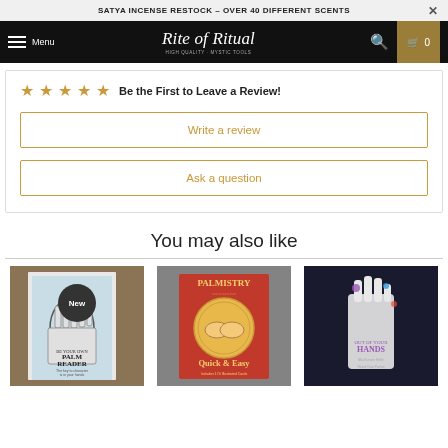SATYA INCENSE RESTOCK - OVER 40 DIFFERENT SCENTS
Rite of Ritual — Menu, Search, Cart (0)
☆☆☆☆☆ Be the First to Leave a Review!
Write a review
Ask a question
You may also like
[Figure (photo): Palm reader book cover with hand illustration, 'Be Your Own Palm Reader' text, shown with New badge]
[Figure (photo): Palmistry Quick & Easy red book cover with palmistry hands illustration]
[Figure (photo): Out of Your Hands book cover with white hand illustration on dark background]